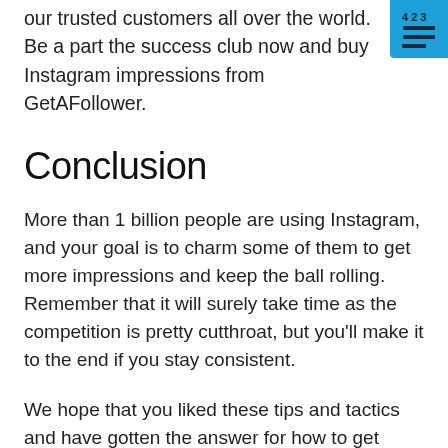our trusted customers all over the world. Be a part the success club now and buy Instagram impressions from GetAFollower.
Conclusion
More than 1 billion people are using Instagram, and your goal is to charm some of them to get more impressions and keep the ball rolling. Remember that it will surely take time as the competition is pretty cutthroat, but you’ll make it to the end if you stay consistent.
We hope that you liked these tips and tactics and have gotten the answer for how to get more impressions on Instagram. If you want to get more content like this, then stay with us because we post the most useful articles and also...